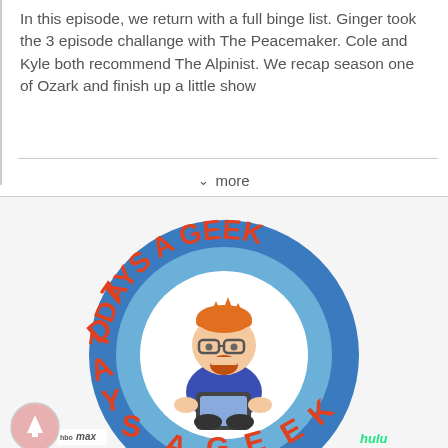In this episode, we return with a full binge list. Ginger took the 3 episode challange with The Peacemaker. Cole and Kyle both recommend The Alpinist. We recap season one of Ozark and finish up a little show
∨  more
[Figure (logo): 7 Days A Geek podcast logo — circular badge with blue background, red bold text '7 DAYS A GEEK' around the ring, cartoon character in center (man with glasses, orange beard, blue shirt, holding a phone), with HBO Max and Hulu logos at bottom]